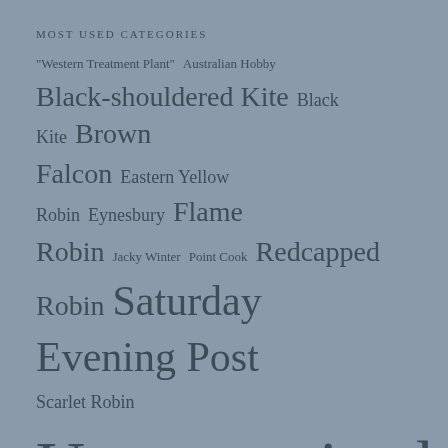MOST USED CATEGORIES
"Western Treatment Plant"
Australian Hobby
Black-shouldered Kite
Black Kite
Brown Falcon
Eastern Yellow Robin
Eynesbury
Flame Robin
Jacky Winter
Point Cook
Redcapped Robin
Saturday Evening Post
Scarlet Robin
Uncategorized
Werribee River Park
Werribee Wagtails
Western Treatment Plant
Whistling Kite
WTP
You Yangs